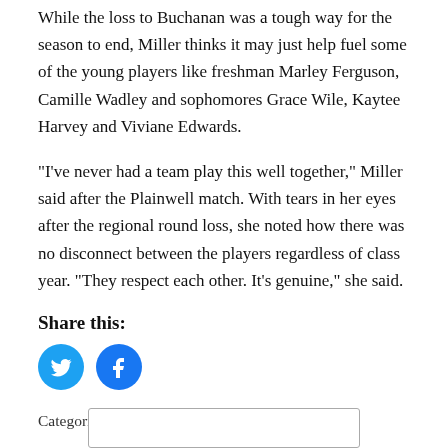While the loss to Buchanan was a tough way for the season to end, Miller thinks it may just help fuel some of the young players like freshman Marley Ferguson, Camille Wadley and sophomores Grace Wile, Kaytee Harvey and Viviane Edwards.
“I’ve never had a team play this well together,” Miller said after the Plainwell match. With tears in her eyes after the regional round loss, she noted how there was no disconnect between the players regardless of class year. “They respect each other. It’s genuine,” she said.
Share this:
[Figure (other): Twitter and Facebook social share icon buttons (blue circles with bird and f logos)]
Categories: News, Sports, Vicksburg